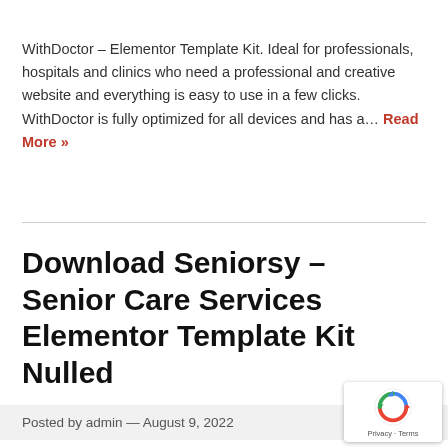WithDoctor – Elementor Template Kit. Ideal for professionals, hospitals and clinics who need a professional and creative website and everything is easy to use in a few clicks. WithDoctor is fully optimized for all devices and has a… Read More »
Download Seniorsy – Senior Care Services Elementor Template Kit Nulled
Posted by admin — August 9, 2022
[Figure (logo): Google reCAPTCHA badge with rotating arrows icon and Privacy · Terms links]